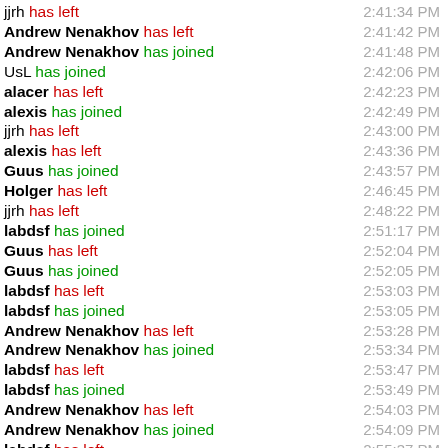jjrh has left 2:41:34 PM
Andrew Nenakhov has left 2:41:42 PM
Andrew Nenakhov has joined 2:41:48 PM
UsL has joined 2:42:06 PM
alacer has left 2:42:23 PM
alexis has joined 2:42:49 PM
jjrh has left 2:43:00 PM
alexis has left 2:43:36 PM
Guus has joined 2:43:57 PM
Holger has left 2:46:45 PM
jjrh has left 2:48:22 PM
labdsf has joined 2:51:17 PM
Guus has left 2:52:04 PM
Guus has joined 2:52:05 PM
labdsf has left 2:53:03 PM
labdsf has joined 2:53:05 PM
Andrew Nenakhov has left 2:53:28 PM
Andrew Nenakhov has joined 2:53:34 PM
labdsf has left 2:53:47 PM
labdsf has joined 2:53:49 PM
Andrew Nenakhov has left 2:54:03 PM
Andrew Nenakhov has joined 2:54:09 PM
labdsf has left 2:55:37 PM
j.r has joined 2:58:36 PM
Andrew Nenakhov has left 2:59:10 PM